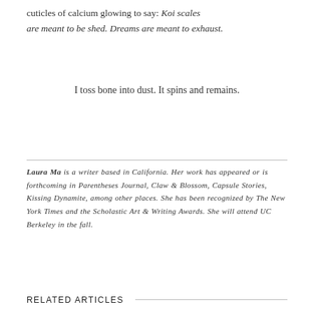cuticles of calcium glowing to say: Koi scales are meant to be shed. Dreams are meant to exhaust.
I toss bone into dust. It spins and remains.
Laura Ma is a writer based in California. Her work has appeared or is forthcoming in Parentheses Journal, Claw & Blossom, Capsule Stories, Kissing Dynamite, among other places. She has been recognized by The New York Times and the Scholastic Art & Writing Awards. She will attend UC Berkeley in the fall.
RELATED ARTICLES